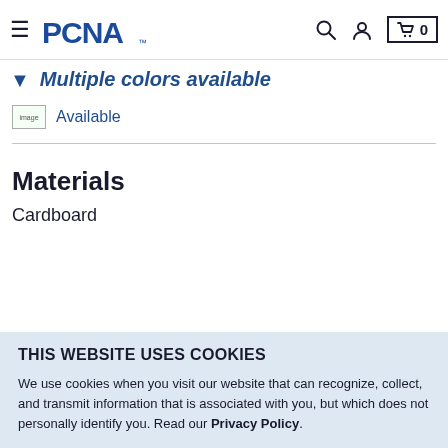PCNA — navigation bar with hamburger menu, PCNA logo, search icon, account icon, cart (0)
Multiple colors available
[Figure (other): Small green image placeholder icon followed by 'Available' text link]
Materials
Cardboard
THIS WEBSITE USES COOKIES
We use cookies when you visit our website that can recognize, collect, and transmit information that is associated with you, but which does not personally identify you. Read our Privacy Policy.